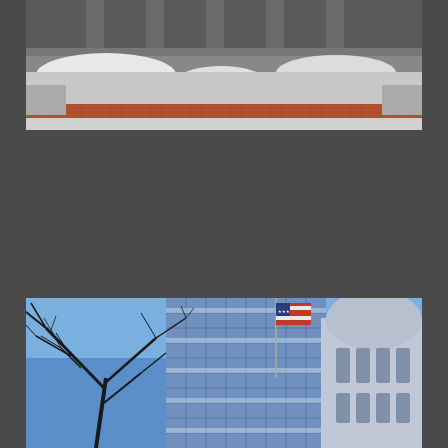[Figure (photo): Exterior photo of a government building steps/entrance covered in snow, with snow piled along the sides. View of the base of the building steps with a red brick or patterned walkway visible.]
[Figure (photo): Exterior photo showing a government building with a domed rotunda on the right, a modern glass-and-steel high-rise office building in the center-left, an American flag flying, and bare winter tree branches in the foreground against a bright blue sky.]